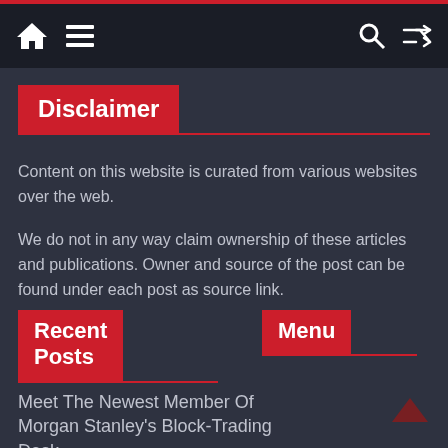Navigation bar with home, menu, search, and shuffle icons
Disclaimer
Content on this website is curated from various websites over the web.
We do not in any way claim ownership of these articles and publications. Owner and source of the post can be found under each post as source link.
Recent Posts
Menu
Meet The Newest Member Of Morgan Stanley's Block-Trading Desk